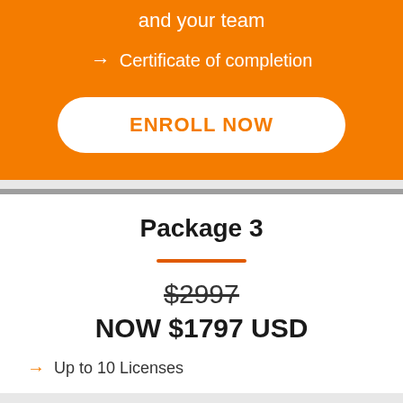and your team
→  Certificate of completion
ENROLL NOW
Package 3
$2997
NOW $1797 USD
→  Up to 10 Licenses